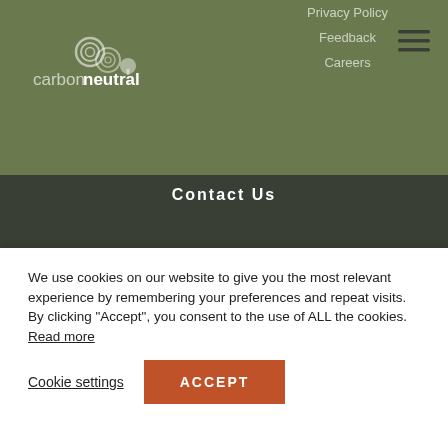[Figure (logo): Carbon Neutral logo with spiral graphic and text]
Privacy Policy
Feedback
Careers
Contact Us
[Figure (infographic): Social media icons: Facebook, LinkedIn, Twitter, Instagram, YouTube]
NEWSLETTER
We use cookies on our website to give you the most relevant experience by remembering your preferences and repeat visits. By clicking “Accept”, you consent to the use of ALL the cookies. Read more
Cookie settings
ACCEPT